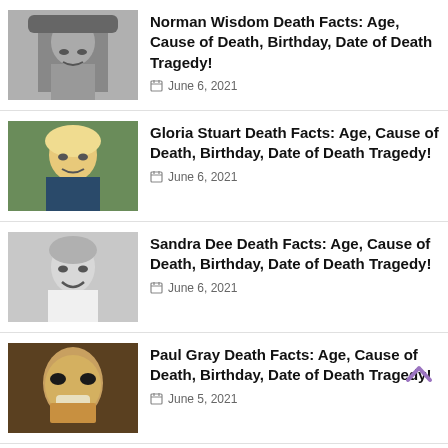[Figure (photo): Black and white photo of Norman Wisdom making a funny face]
Norman Wisdom Death Facts: Age, Cause of Death, Birthday, Date of Death Tragedy!
June 6, 2021
[Figure (photo): Color photo of Gloria Stuart, elderly woman with white/blonde hair]
Gloria Stuart Death Facts: Age, Cause of Death, Birthday, Date of Death Tragedy!
June 6, 2021
[Figure (photo): Black and white photo of Sandra Dee smiling]
Sandra Dee Death Facts: Age, Cause of Death, Birthday, Date of Death Tragedy!
June 6, 2021
[Figure (photo): Color photo of Paul Gray wearing a mask]
Paul Gray Death Facts: Age, Cause of Death, Birthday, Date of Death Tragedy!
June 5, 2021
[Figure (photo): Close-up photo of Dick Dickey]
Dick Dickey Death Facts: Age, Cause of Death, Birthday, Date of Death Tragedy!